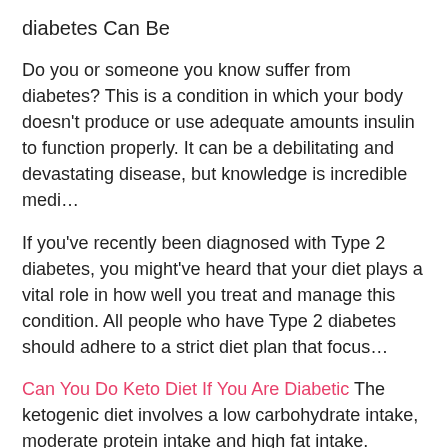diabetes Can Be
Do you or someone you know suffer from diabetes? This is a condition in which your body doesn't produce or use adequate amounts insulin to function properly. It can be a debilitating and devastating disease, but knowledge is incredible medi…
If you've recently been diagnosed with Type 2 diabetes, you might've heard that your diet plays a vital role in how well you treat and manage this condition. All people who have Type 2 diabetes should adhere to a strict diet plan that focus…
Can You Do Keto Diet If You Are Diabetic The ketogenic diet involves a low carbohydrate intake, moderate protein intake and high fat intake. Reducing carbs and replacing them with healthy fats can cause your body to enter a metabolic state known as ketosis. Following the keto diet… Can The Keto Diet Cause Ketoacidosis In Diabetics Can You Have Dried